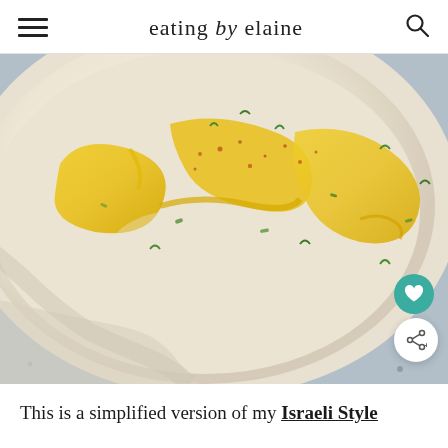eating by elaine
[Figure (photo): Close-up overhead shot of a white bowl filled with smooth hummus, drizzled with golden olive oil in swirling patterns, sprinkled with red paprika and chopped fresh green herbs (parsley), set on a blue-grey speckled concrete surface.]
This is a simplified version of my Israeli Style